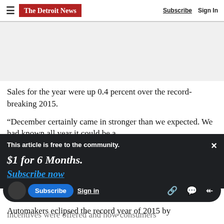The Detroit News — Subscribe | Sign In
Sales for the year were up 0.4 percent over the record-breaking 2015.
“December certainly came in stronger than we expected. We had known all year it could be a
[Figure (screenshot): Paywall overlay: 'This article is free to the community. $1 for 6 Months. Subscribe now' with close button]
incentives were offered and how consumers
Automakers eclipsed the record year of 2015 by